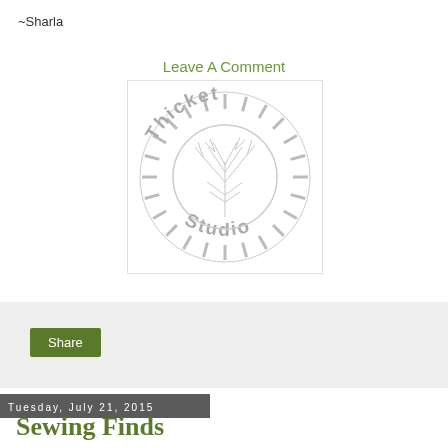~Sharla
Leave A Comment
[Figure (logo): Little Thicket Studio circular logo in gray, featuring stylized plant/twig imagery in center circle with text arranged around the perimeter]
Share
Tuesday, July 21, 2015
Sewing Finds